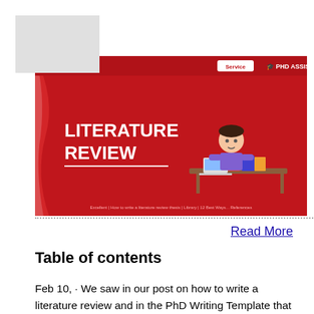[Figure (illustration): Red banner image for Literature Review service showing a cartoon student studying with books, with white text reading LITERATURE REVIEW on a red background]
Read More
Table of contents
Feb 10,  · We saw in our post on how to write a literature review and in the PhD Writing Template that the literature review serves three purposes. To provide sufficient background information so that your own research problem can be contextualised To discuss how, how well, or even if, others have solved similar problems. PhD Forum. Advice / Support. Length of literature review? Length of literature review? Back to threads Reply. Caterpillar27 posts 10 years ago. Hi, I am currently 6 months into my first year and hoping to draft a rough literature review over the next few months. I know that each thesis is different, but I was just wondering approximately. Jan 04  · Whilst you'll need to